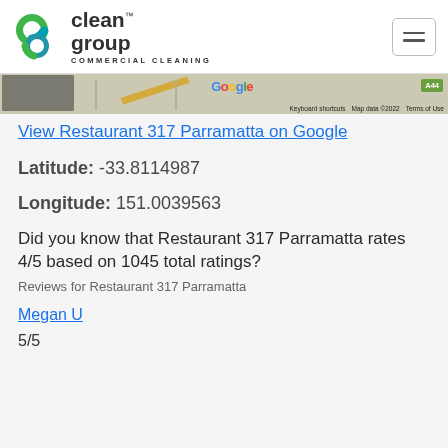Clean Group Commercial Cleaning — navigation header with logo and hamburger menu
[Figure (screenshot): Google Maps strip showing Parramatta area map with road markings, Google logo, keyboard shortcuts, Map data ©2022, Terms of Use, and A44 badge]
View Restaurant 317 Parramatta on Google
Latitude: -33.8114987
Longitude: 151.0039563
Did you know that Restaurant 317 Parramatta rates 4/5 based on 1045 total ratings?
Reviews for Restaurant 317 Parramatta
Megan U
5/5